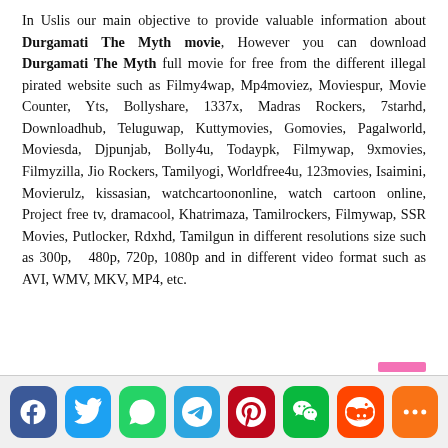In Uslis our main objective to provide valuable information about Durgamati The Myth movie, However you can download Durgamati The Myth full movie for free from the different illegal pirated website such as Filmy4wap, Mp4moviez, Moviespur, Movie Counter, Yts, Bollyshare, 1337x, Madras Rockers, 7starhd, Downloadhub, Teluguwap, Kuttymovies, Gomovies, Pagalworld, Moviesda, Djpunjab, Bolly4u, Todaypk, Filmywap, 9xmovies, Filmyzilla, Jio Rockers, Tamilyogi, Worldfree4u, 123movies, Isaimini, Movierulz, kissasian, watchcartoononline, watch cartoon online, Project free tv, dramacool, Khatrimaza, Tamilrockers, Filmywap, SSR Movies, Putlocker, Rdxhd, Tamilgun in different resolutions size such as 300p, 480p, 720p, 1080p and in different video format such as AVI, WMV, MKV, MP4, etc.
[Figure (other): Social media share buttons: Facebook, Twitter, WhatsApp, Telegram, Pinterest, WeChat, Reddit, More]